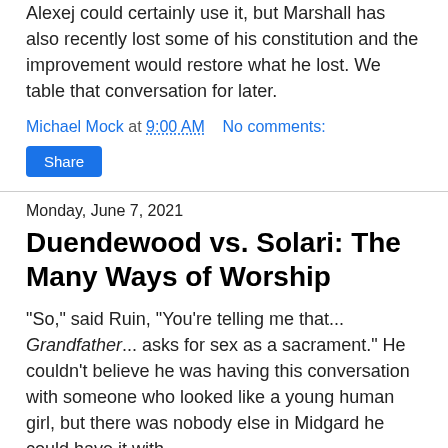...Alexej could certainly use it, but Marshall has also recently lost some of his constitution and the improvement would restore what he lost. We table that conversation for later.
Michael Mock at 9:00 AM   No comments:
Share
Monday, June 7, 2021
Duendewood vs. Solari: The Many Ways of Worship
"So," said Ruin, "You're telling me that... Grandfather... asks for sex as a sacrament." He couldn't believe he was having this conversation with someone who looked like a young human girl, but there was nobody else in Midgard he could have it with.
Eva shook her head. "Not exactly. Understand that we don't worship him the way you do--"